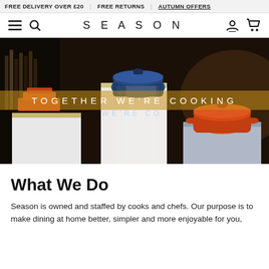FREE DELIVERY OVER £20 | FREE RETURNS | AUTUMN OFFERS
[Figure (screenshot): Navigation bar with hamburger menu, search icon, SEASON logo, account icon, and cart icon]
[Figure (photo): Hero image of cookware (blue and orange cast iron pots) on white pedestals against dark background, with text overlay reading TOGETHER WE'RE COOKING and WE'RE CO.]
What We Do
Season is owned and staffed by cooks and chefs. Our purpose is to make dining at home better, simpler and more enjoyable for you,